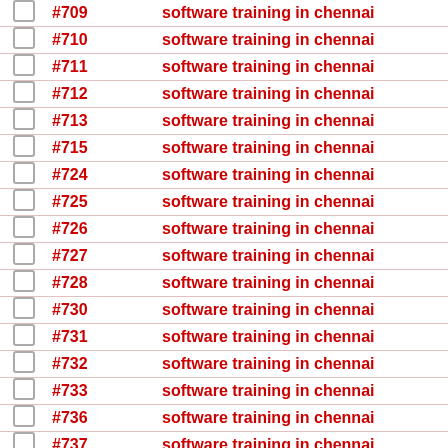|  | # | keyword |
| --- | --- | --- |
| ☐ | #709 | software training in chennai |
| ☐ | #710 | software training in chennai |
| ☐ | #711 | software training in chennai |
| ☐ | #712 | software training in chennai |
| ☐ | #713 | software training in chennai |
| ☐ | #715 | software training in chennai |
| ☐ | #724 | software training in chennai |
| ☐ | #725 | software training in chennai |
| ☐ | #726 | software training in chennai |
| ☐ | #727 | software training in chennai |
| ☐ | #728 | software training in chennai |
| ☐ | #730 | software training in chennai |
| ☐ | #731 | software training in chennai |
| ☐ | #732 | software training in chennai |
| ☐ | #733 | software training in chennai |
| ☐ | #736 | software training in chennai |
| ☐ | #737 | software training in chennai |
| ☐ | #738 | software training in chennai |
| ☐ | #739 | software training in chennai |
| ☐ | #743 | software training in chennai |